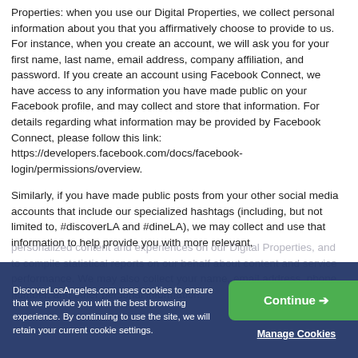Properties: when you use our Digital Properties, we collect personal information about you that you affirmatively choose to provide to us. For instance, when you create an account, we will ask you for your first name, last name, email address, company affiliation, and password. If you create an account using Facebook Connect, we have access to any information you have made public on your Facebook profile, and may collect and store that information. For details regarding what information may be provided by Facebook Connect, please follow this link: https://developers.facebook.com/docs/facebook-login/permissions/overview.
Similarly, if you have made public posts from your other social media accounts that include our specialized hashtags (including, but not limited to, #discoverLA and #dineLA), we may collect and use that information to help provide you with more relevant,
Cookie bar overlay text (faded): ...personalized content and experiences on our Digital Properties...
DiscoverLosAngeles.com uses cookies to ensure that we provide you with the best browsing experience. By continuing to use the site, we will retain your current cookie settings.